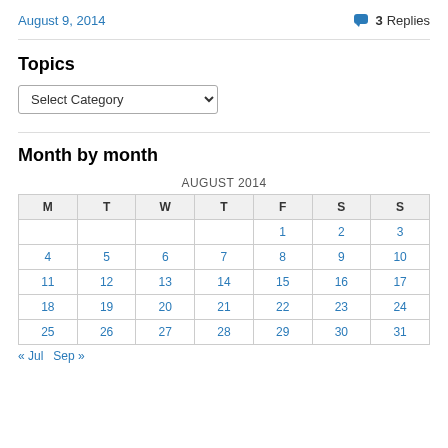August 9, 2014   3 Replies
Topics
[Figure (other): Select Category dropdown input]
Month by month
| M | T | W | T | F | S | S |
| --- | --- | --- | --- | --- | --- | --- |
|  |  |  |  | 1 | 2 | 3 |
| 4 | 5 | 6 | 7 | 8 | 9 | 10 |
| 11 | 12 | 13 | 14 | 15 | 16 | 17 |
| 18 | 19 | 20 | 21 | 22 | 23 | 24 |
| 25 | 26 | 27 | 28 | 29 | 30 | 31 |
« Jul   Sep »